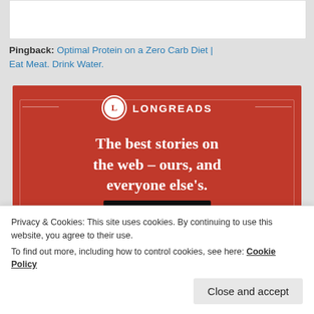Pingback: Optimal Protein on a Zero Carb Diet | Eat Meat. Drink Water.
[Figure (advertisement): Longreads red advertisement banner with white text reading 'The best stories on the web – ours, and everyone else's.' and a 'Start reading' button]
Privacy & Cookies: This site uses cookies. By continuing to use this website, you agree to their use. To find out more, including how to control cookies, see here: Cookie Policy
Close and accept